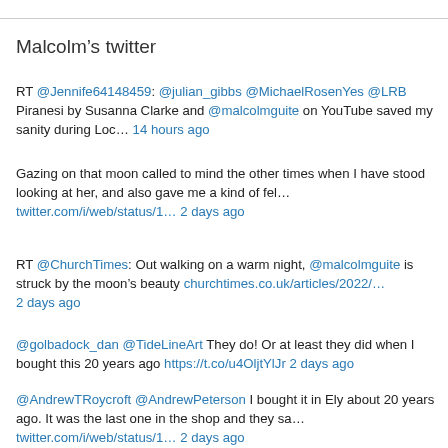Malcolm's twitter
RT @Jennife64148459: @julian_gibbs @MichaelRosenYes @LRB Piranesi by Susanna Clarke and @malcolmguite on YouTube saved my sanity during Loc… 14 hours ago
Gazing on that moon called to mind the other times when I have stood looking at her, and also gave me a kind of fel… twitter.com/i/web/status/1… 2 days ago
RT @ChurchTimes: Out walking on a warm night, @malcolmguite is struck by the moon's beauty churchtimes.co.uk/articles/2022/… 2 days ago
@golbadock_dan @TideLineArt They do! Or at least they did when I bought this 20 years ago https://t.co/u4OljtYlJr 2 days ago
@AndrewTRoycroft @AndrewPeterson I bought it in Ely about 20 years ago. It was the last one in the shop and they sa… twitter.com/i/web/status/1… 2 days ago